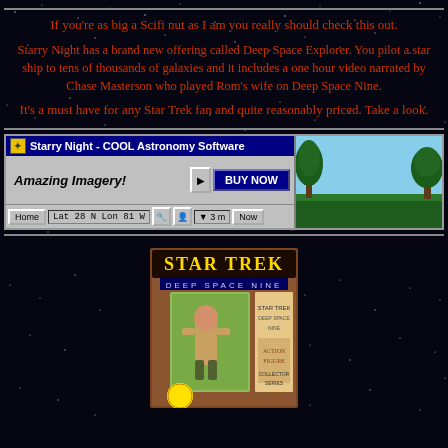If you're as big a Scifi nut as I am you really should check this out.
Starry Night has a brand new offering called Deep Space Explorer. You pilot a star ship to tens of thousands of galaxies and it includes a one hour video narrated by Chase Masterson who played Rom's wife on Deep Space Nine.
It's a must have for any Star Trek fan and quite reasonably priced. Take a look.
[Figure (screenshot): Starry Night - COOL Astronomy Software banner ad with Amazing Imagery text, BUY NOW button, navigation controls, and a outdoor scenery background with trees]
[Figure (photo): Star Trek Deep Space Nine action figure product box]